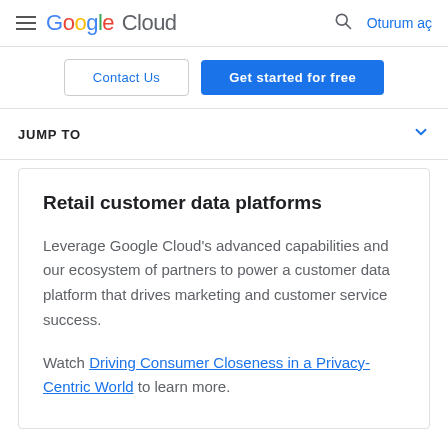Google Cloud — Oturum aç
Contact Us | Get started for free
JUMP TO
Retail customer data platforms
Leverage Google Cloud's advanced capabilities and our ecosystem of partners to power a customer data platform that drives marketing and customer service success.
Watch Driving Consumer Closeness in a Privacy-Centric World to learn more.